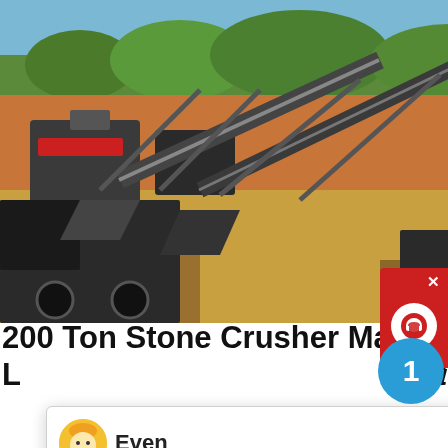[Figure (photo): Outdoor photo of a stone crusher machine / crushing plant at a mining/quarry site with conveyors, dry golden ground, red soil and trees in background under clear sky.]
200 Ton Stone Crusher Machine Pri... L ...at w
[Figure (screenshot): Chat popup overlay with agent avatar (cartoon face with yellow hair), agent name 'Even', and message 'Hello, I am Even, I am very glad to talk with you!' with X close button. A blue notification circle with number 1 appears to the right. A red customer-support button appears top-right of the page.]
2
Puzzolana 200 Tonnes Par Heure Stone Crusher. low price crushing plant 200 tons per hour. steam consumption, t cobble crushing plant rock crushing futurainstitute ston crushing plant and classification Manufacturer 5 8 tons per hour high quality kaolin crushing machicrushing machine for
get price
[Figure (photo): Bottom partial photo, appears to show another industrial/quarry scene.]